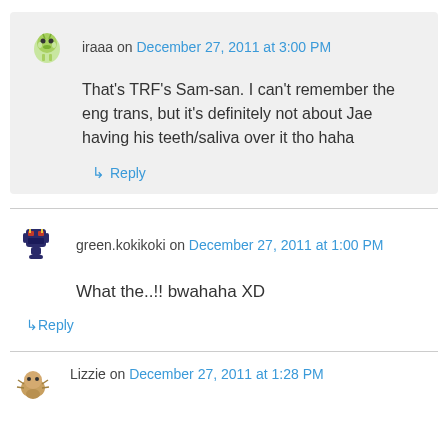iraaa on December 27, 2011 at 3:00 PM
That's TRF's Sam-san. I can't remember the eng trans, but it's definitely not about Jae having his teeth/saliva over it tho haha
Reply
green.kokikoki on December 27, 2011 at 1:00 PM
What the..!! bwahaha XD
Reply
Lizzie on December 27, 2011 at 1:28 PM